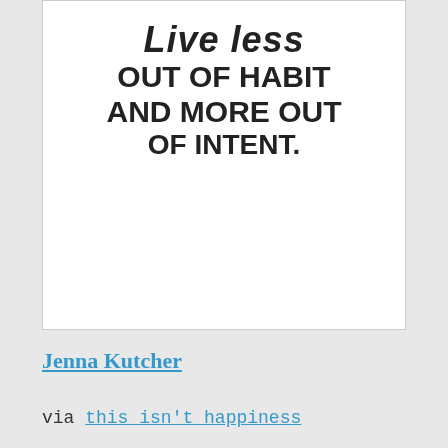[Figure (illustration): Handwritten-style text on white background reading: 'Live less out of habit and more out of intent.']
Jenna Kutcher
via this isn't happiness